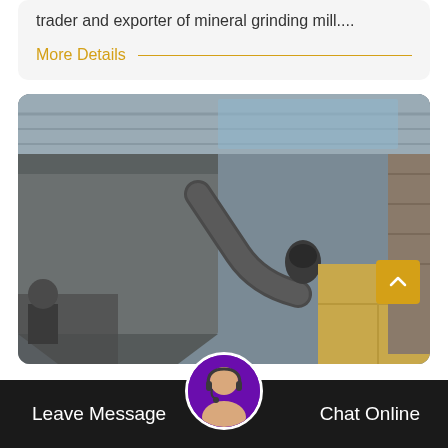trader and exporter of mineral grinding mill....
More Details
[Figure (photo): Industrial mineral grinding mill machinery inside a factory building. Shows large grey metal hoppers and ducts with corrugated metal roof and walls visible.]
Leave Message
Chat Online